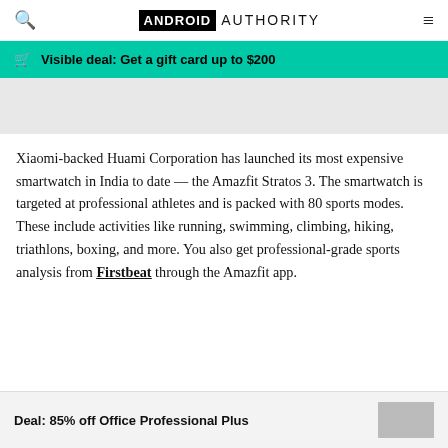ANDROID AUTHORITY
Visible deal: Get a gift card up to $200
[Figure (photo): Gray placeholder image area at top of article]
Xiaomi-backed Huami Corporation has launched its most expensive smartwatch in India to date — the Amazfit Stratos 3. The smartwatch is targeted at professional athletes and is packed with 80 sports modes. These include activities like running, swimming, climbing, hiking, triathlons, boxing, and more. You also get professional-grade sports analysis from Firstbeat through the Amazfit app.
Deal: 85% off Office Professional Plus